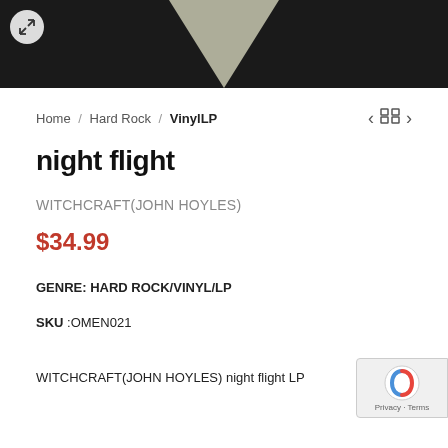[Figure (photo): Dark background product image showing a vinyl record with a triangular cream/white shape visible in center, expand icon in top-left corner]
Home / Hard Rock / VinylLP
night flight
WITCHCRAFT(JOHN HOYLES)
$34.99
GENRE: HARD ROCK/VINYL/LP
SKU :OMEN021
WITCHCRAFT(JOHN HOYLES) night flight LP